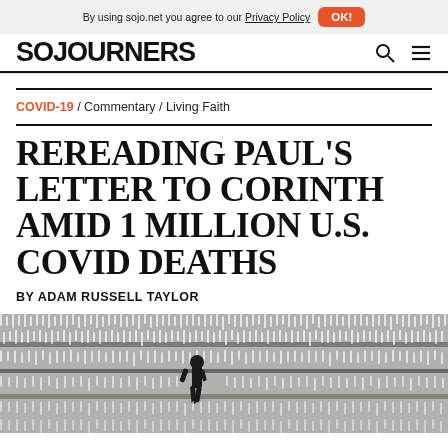By using sojo.net you agree to our Privacy Policy  OK!
SOJOURNERS
COVID-19 / Commentary / Living Faith
REREADING PAUL'S LETTER TO CORINTH AMID 1 MILLION U.S. COVID DEATHS
BY ADAM RUSSELL TAYLOR
[Figure (photo): A person walking through a field of white flags, representing COVID-19 deaths.]